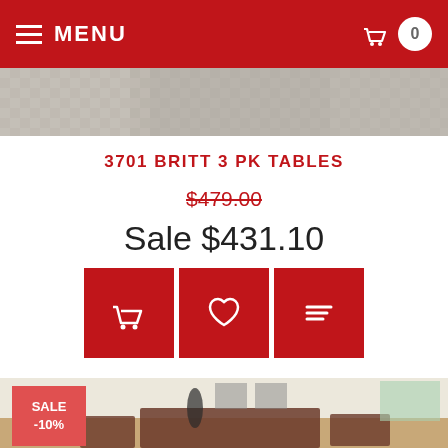MENU | 0
[Figure (photo): Partial product photo strip showing a rug or flooring texture at the top of the page]
3701 BRITT 3 PK TABLES
$479.00 (strikethrough original price)
Sale $431.10
[Figure (infographic): Three red action buttons: add to basket (basket icon), wishlist (heart icon), and compare/list (lines icon)]
[Figure (photo): Product photo of the 3701 Britt 3 PK Tables set showing dark wood coffee table and two end tables in a living room setting with a SALE -10% badge overlay]